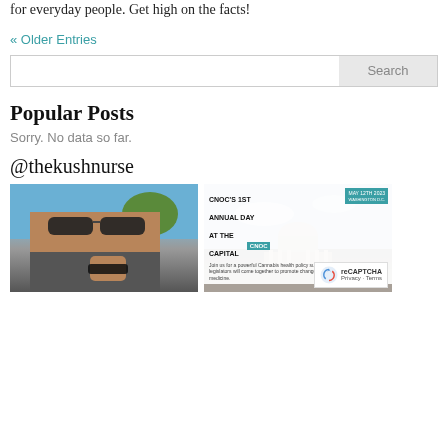for everyday people. Get high on the facts!
« Older Entries
Search
Popular Posts
Sorry. No data so far.
@thekushnurse
[Figure (photo): Selfie of a person wearing sunglasses outdoors with trees and blue sky in the background, raising a fist wearing a black bracelet.]
[Figure (photo): CNOC's 1st Annual Day at the Capital event flyer overlaid on a photo of the US Capitol building. Teal and white design with CNOC logo and event date May 12th 2023.]